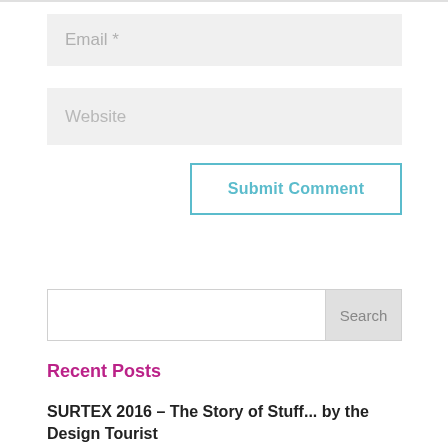Email *
Website
Submit Comment
Search
Recent Posts
SURTEX 2016 – The Story of Stuff... by the Design Tourist